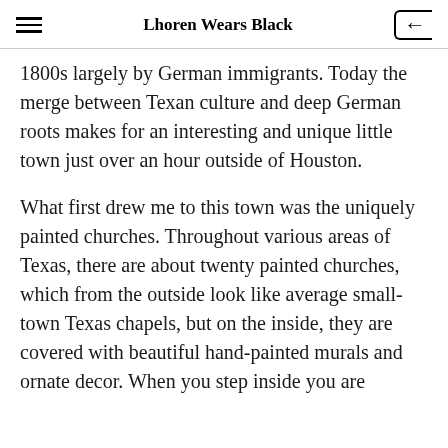Lhoren Wears Black
1800s largely by German immigrants. Today the merge between Texan culture and deep German roots makes for an interesting and unique little town just over an hour outside of Houston.
What first drew me to this town was the uniquely painted churches. Throughout various areas of Texas, there are about twenty painted churches, which from the outside look like average small-town Texas chapels, but on the inside, they are covered with beautiful hand-painted murals and ornate decor. When you step inside you are